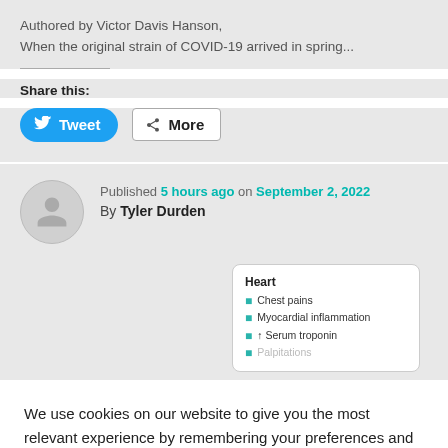Authored by Victor Davis Hanson,
When the original strain of COVID-19 arrived in spring...
Share this:
[Figure (screenshot): Tweet and More share buttons]
Published 5 hours ago on September 2, 2022
By Tyler Durden
[Figure (infographic): Heart symptoms card: Chest pains, Myocardial inflammation, ↑ Serum troponin, Palpitations]
We use cookies on our website to give you the most relevant experience by remembering your preferences and repeat visits. By clicking "Accept", you consent to the use of ALL the cookies.
Cookie settings
ACCEPT